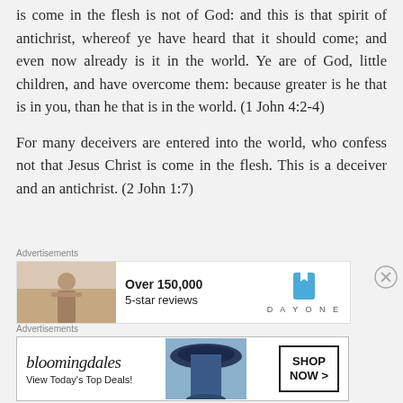is come in the flesh is not of God: and this is that spirit of antichrist, whereof ye have heard that it should come; and even now already is it in the world. Ye are of God, little children, and have overcome them: because greater is he that is in you, than he that is in the world. (1 John 4:2-4)
For many deceivers are entered into the world, who confess not that Jesus Christ is come in the flesh. This is a deceiver and an antichrist. (2 John 1:7)
Advertisements
[Figure (infographic): Advertisement banner for DayOne journal app: image of person from behind, text 'Over 150,000 5-star reviews', DayOne logo with blue bookmark icon]
Advertisements
[Figure (infographic): Advertisement banner for Bloomingdales: logo text 'bloomingdales', text 'View Today's Top Deals!', photo of woman in wide-brim hat, 'SHOP NOW >' button]